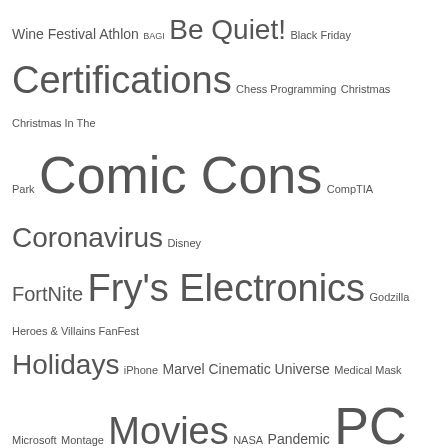[Figure (infographic): Tag cloud with words sized by frequency/importance. Words include: Wine Festival Athlon, BAGI, Be Quiet!, Black Friday, Certifications, Chess Programming, Christmas, Christmas In The Park, Comic Cons, CompTIA, Coronavirus, Disney, FortNite, Fry's Electronics, Godzilla, Heroes & Villains FanFest, Holidays, iPhone, Marvel Cinematic Universe, Medical Mask, Microsoft, Montage, Movies, NASA, Pandemic, PC Tech, Pop Culture, Python, Silicon Valley, Silicon Valley Auto Show, Silicon Valley Comic Con, SiliCon With Adam Savage, Stan Lee, Star Trek, Star Wars, Strawberry Souls, Technology, YouTube, YouTubers]